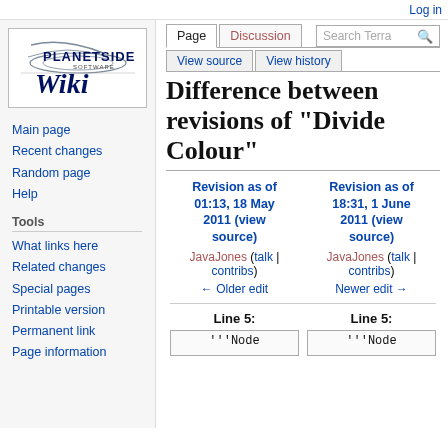Log in
[Figure (logo): PlanetSide Software Wiki logo]
Main page
Recent changes
Random page
Help
Tools
What links here
Related changes
Special pages
Printable version
Permanent link
Page information
Difference between revisions of "Divide Colour"
| Revision as of 01:13, 18 May 2011 (view source) | Revision as of 18:31, 1 June 2011 (view source) |
| --- | --- |
| JavaJones (talk | contribs) | JavaJones (talk | contribs) |
| ← Older edit | Newer edit → |
| Line 5: | Line 5: |
| '''Node | '''Node |